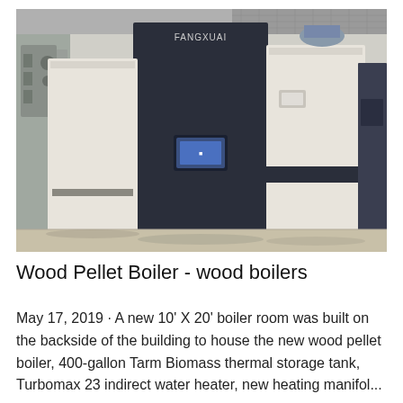[Figure (photo): Industrial boiler room showing large white and dark-colored Fangxuai brand boiler units on a concrete floor with mechanical equipment and ductwork visible in the background.]
Wood Pellet Boiler - wood boilers
May 17, 2019 · A new 10' X 20' boiler room was built on the backside of the building to house the new wood pellet boiler, 400-gallon Tarm Biomass thermal storage tank, Turbomax 23 indirect water heater, new heating manifol...